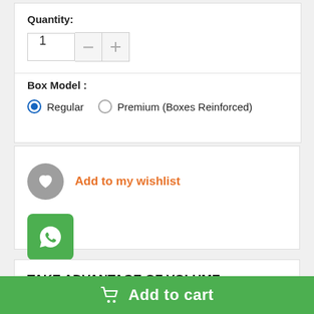Quantity:
1
Box Model :
Regular   Premium (Boxes Reinforced)
Add to my wishlist
TAKE ADVANTAGE OF VOLUME DISCOUNTS
Add to cart